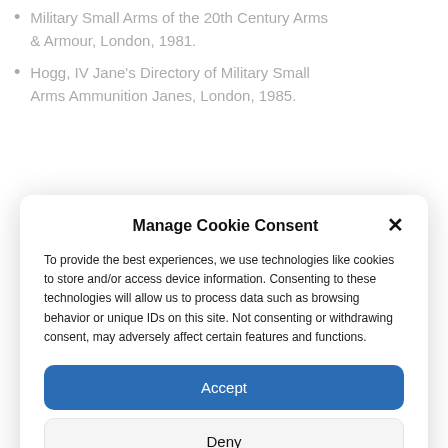Military Small Arms of the 20th Century Arms & Armour, London, 1981.
Hogg, IV Jane's Directory of Military Small Arms Ammunition Janes, London, 1985.
Manage Cookie Consent
To provide the best experiences, we use technologies like cookies to store and/or access device information. Consenting to these technologies will allow us to process data such as browsing behavior or unique IDs on this site. Not consenting or withdrawing consent, may adversely affect certain features and functions.
Accept
Deny
View preferences
Cookie Policy   Privacy Policy